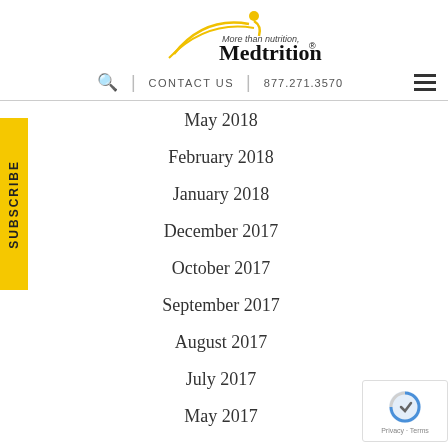[Figure (logo): Medtrition logo with tagline 'More than nutrition, Medtrition®' and decorative swoosh in gold/yellow]
🔍  |  CONTACT US  |  877.271.3570
May 2018
February 2018
January 2018
December 2017
October 2017
September 2017
August 2017
July 2017
May 2017